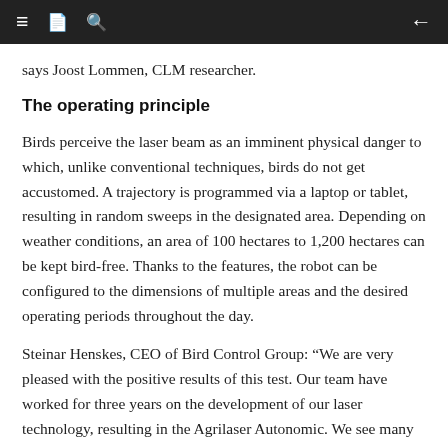≡  ⊟  🔍  ←
says Joost Lommen, CLM researcher.
The operating principle
Birds perceive the laser beam as an imminent physical danger to which, unlike conventional techniques, birds do not get accustomed. A trajectory is programmed via a laptop or tablet, resulting in random sweeps in the designated area. Depending on weather conditions, an area of 100 hectares to 1,200 hectares can be kept bird-free. Thanks to the features, the robot can be configured to the dimensions of multiple areas and the desired operating periods throughout the day.
Steinar Henskes, CEO of Bird Control Group: “We are very pleased with the positive results of this test. Our team have worked for three years on the development of our laser technology, resulting in the Agrilaser Autonomic. We see many